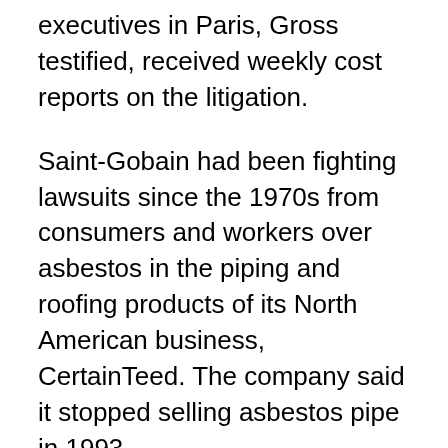executives in Paris, Gross testified, received weekly cost reports on the litigation.
Saint-Gobain had been fighting lawsuits since the 1970s from consumers and workers over asbestos in the piping and roofing products of its North American business, CertainTeed. The company said it stopped selling asbestos pipe in 1993.
Initially, the company did not face a flood of litigation, as plaintiffs' lawyers primarily focused on firms whose businesses were more concentrated in asbestos products, such as insulation. But CertainTeed and other companies selling products containing asbestos became prime targets in the early